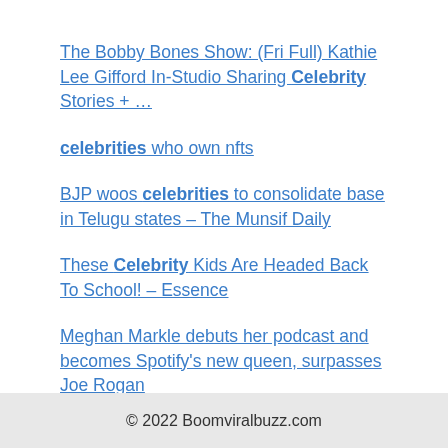The Bobby Bones Show: (Fri Full) Kathie Lee Gifford In-Studio Sharing Celebrity Stories + …
celebrities who own nfts
BJP woos celebrities to consolidate base in Telugu states – The Munsif Daily
These Celebrity Kids Are Headed Back To School! – Essence
Meghan Markle debuts her podcast and becomes Spotify's new queen, surpasses Joe Rogan
© 2022 Boomviralbuzz.com